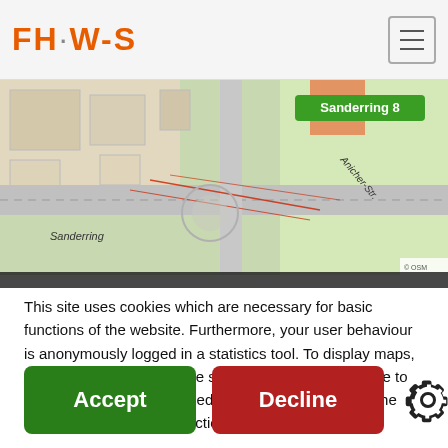FHW-S
[Figure (map): OpenStreetMap showing Sanderring 8 area with streets, buildings, and a green location marker labeled 'Sanderring 8']
This site uses cookies which are necessary for basic functions of the website. Furthermore, your user behaviour is anonymously logged in a statistics tool. To display maps, data is loaded from Google servers. If you do not agree to the collection of anonymised data, please deactivate the logging on the “data protection” page.
Accept
Decline